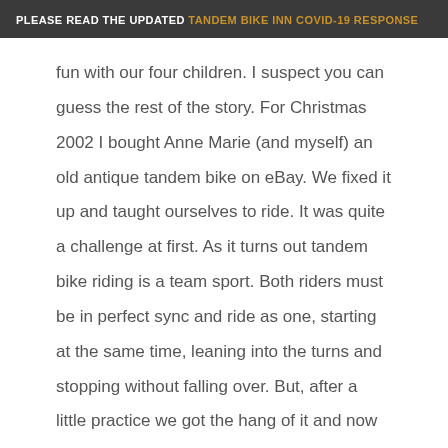PLEASE READ THE UPDATED TANDEM BIKE INN COVID-19 RESPONSE
fun with our four children. I suspect you can guess the rest of the story. For Christmas 2002 I bought Anne Marie (and myself) an old antique tandem bike on eBay. We fixed it up and taught ourselves to ride. It was quite a challenge at first. As it turns out tandem bike riding is a team sport. Both riders must be in perfect sync and ride as one, starting at the same time, leaning into the turns and stopping without falling over. But, after a little practice we got the hang of it and now we are self proclaimed relative experts.